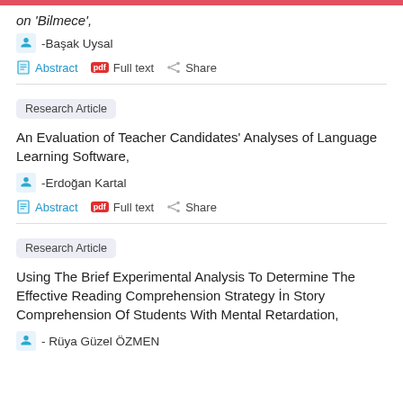on 'Bilmece',
-Başak Uysal
Abstract  Full text  Share
Research Article
An Evaluation of Teacher Candidates' Analyses of Language Learning Software,
-Erdoğan Kartal
Abstract  Full text  Share
Research Article
Using The Brief Experimental Analysis To Determine The Effective Reading Comprehension Strategy İn Story Comprehension Of Students With Mental Retardation,
- Rüya Güzel ÖZMEN